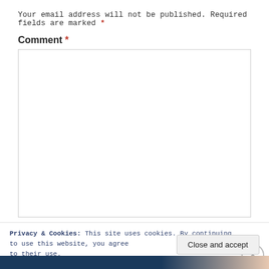Your email address will not be published. Required fields are marked *
Comment *
[Figure (other): Empty comment text area input box with border]
Privacy & Cookies: This site uses cookies. By continuing to use this website, you agree to their use.
To find out more, including how to control cookies, see here: Cookie Policy
Close and accept